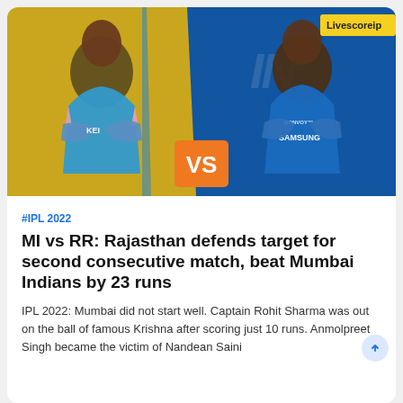[Figure (photo): IPL 2022 match graphic showing two cricket players facing each other. Left player in Rajasthan Royals blue jersey with pink trim (KEI sponsor) against golden/yellow background. Right player in Mumbai Indians blue jersey (SAMSUNG, BONVOY sponsors) against dark blue background. Orange VS badge in the center bottom. Livescoreip watermark badge top right.]
#IPL 2022
MI vs RR: Rajasthan defends target for second consecutive match, beat Mumbai Indians by 23 runs
IPL 2022: Mumbai did not start well. Captain Rohit Sharma was out on the ball of famous Krishna after scoring just 10 runs. Anmolpreet Singh became the victim of Nandean Saini